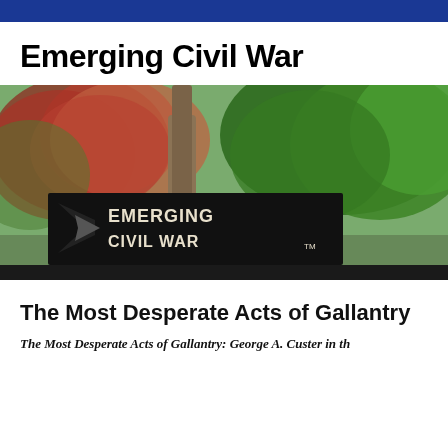Emerging Civil War
[Figure (photo): Outdoor photo of trees with autumn foliage including pink/red flowering trees and green trees, with the Emerging Civil War logo banner (black background with stylized star/arrow and text 'EMERGING CIVIL WAR TM') overlaid at the bottom center of the image. Navigation bar at bottom shows: Home, About Us, Contributors, 2023 Symposium, Publications]
The Most Desperate Acts of Gallantry
The Most Desperate Acts of Gallantry: George A. Custer in th